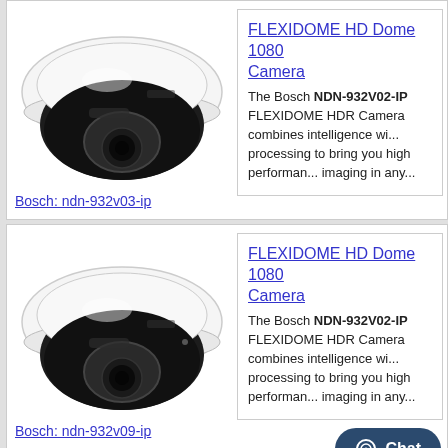[Figure (photo): Bosch FLEXIDOME HD dome security camera, top-down view, white outer housing with black inner dome and lens, product ndn-932v03-ip]
Bosch: ndn-932v03-ip
FLEXIDOME HD Dome 1080 Camera
The Bosch NDN-932V02-IP FLEXIDOME HDR Camera combines intelligence with processing to bring you high performance imaging in any...
[Figure (photo): Bosch FLEXIDOME HD dome security camera, top-down view, white outer housing with black inner dome and lens, product ndn-932v09-ip]
Bosch: ndn-932v09-ip
FLEXIDOME HD Dome 1080 Camera
The Bosch NDN-932V02-IP FLEXIDOME HDR Camera combines intelligence with processing to bring you high performance imaging in any...